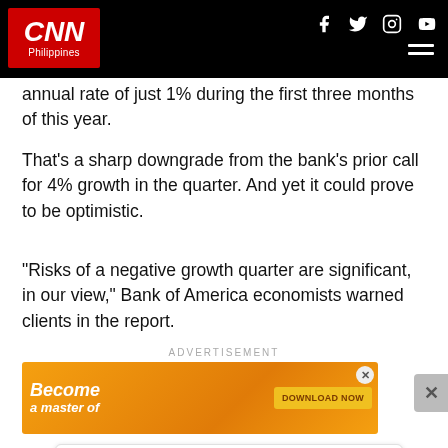CNN Philippines
annual rate of just 1% during the first three months of this year.
That's a sharp downgrade from the bank's prior call for 4% growth in the quarter. And yet it could prove to be optimistic.
"Risks of a negative growth quarter are significant, in our view," Bank of America economists warned clients in the report.
[Figure (screenshot): Advertisement banner - colorful app promotion with 'Become a master of' text and 'DOWNLOAD NOW' button]
[Figure (screenshot): Advertisement for Volalto Luxury Rentals - Experience Luxury Villa Rentals | Punta Cana | Cap Cana | Casa de Campo, with Open button]